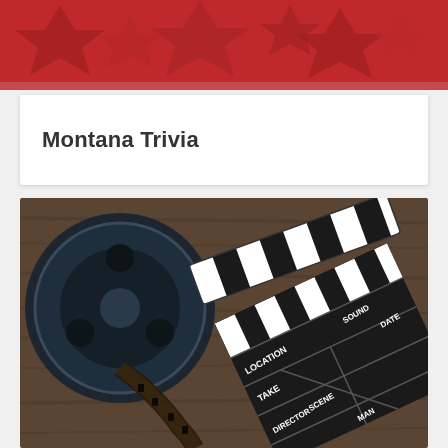[Figure (illustration): Red banner header with dark red film-ticket/star shapes overlapping on a crimson background]
Montana Trivia
[Figure (photo): Photograph of a film reel with unspooled film strip and a movie clapperboard on a wooden surface. The clapperboard shows fields: LOCATION, SOUND, DATE, TAKE, SCENE, DIRECTOR, and partially visible CAMERAMAN.]